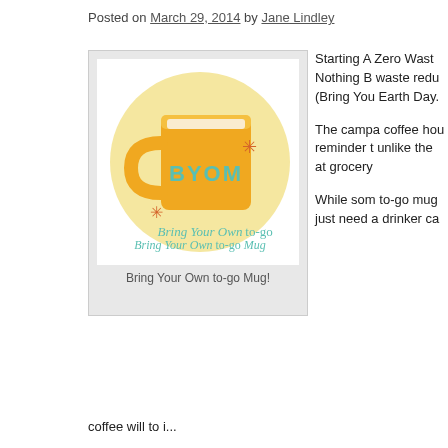Posted on March 29, 2014 by Jane Lindley
[Figure (illustration): BYOM logo: orange mug on a yellow circle background with teal BYOM text and orange asterisk, with text 'Bring Your Own to-go Mug' in teal and orange at bottom]
Bring Your Own to-go Mug!
Starting A Zero Waste Nothing B waste redu (Bring You Earth Day.
The campa coffee hou reminder t unlike the at grocery
While som to-go mug just need a drinker ca
coffee will to i...